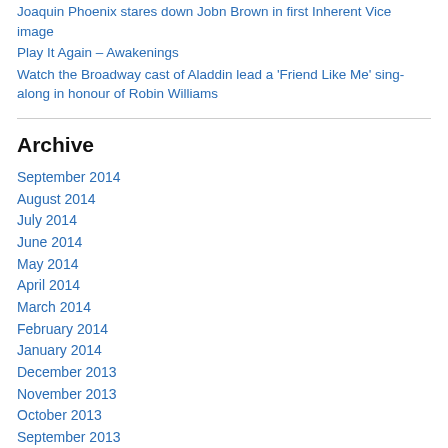Joaquin Phoenix stares down Jobn Brown in first Inherent Vice image
Play It Again – Awakenings
Watch the Broadway cast of Aladdin lead a 'Friend Like Me' sing-along in honour of Robin Williams
Archive
September 2014
August 2014
July 2014
June 2014
May 2014
April 2014
March 2014
February 2014
January 2014
December 2013
November 2013
October 2013
September 2013